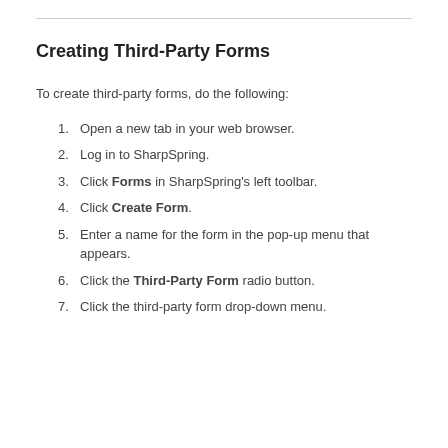Creating Third-Party Forms
To create third-party forms, do the following:
1. Open a new tab in your web browser.
2. Log in to SharpSpring.
3. Click Forms in SharpSpring's left toolbar.
4. Click Create Form.
5. Enter a name for the form in the pop-up menu that appears.
6. Click the Third-Party Form radio button.
7. Click the third-party form drop-down menu.